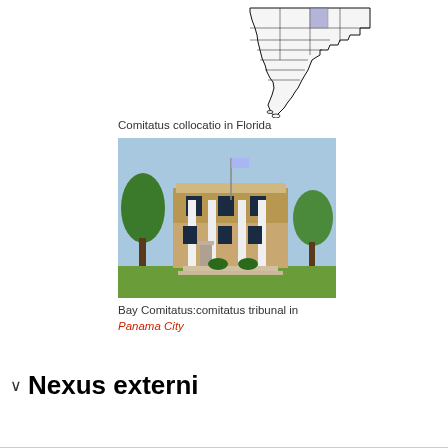[Figure (map): Map of Florida with Bay County highlighted in purple/blue in the panhandle region]
Comitatus collocatio in Florida
[Figure (photo): Bay County courthouse building with white columns, beige/tan brick facade, in Panama City, Florida]
Bay Comitatus:comitatus tribunal in Panama City
Nexus externi